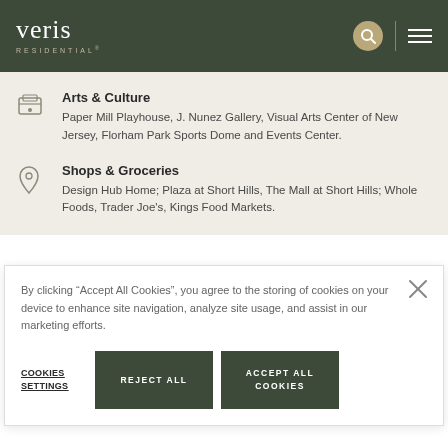Veris Residential
Arts & Culture
Paper Mill Playhouse, J. Nunez Gallery, Visual Arts Center of New Jersey, Florham Park Sports Dome and Events Center.
Shops & Groceries
Design Hub Home; Plaza at Short Hills, The Mall at Short Hills; Whole Foods, Trader Joe's, Kings Food Markets.
By clicking “Accept All Cookies”, you agree to the storing of cookies on your device to enhance site navigation, analyze site usage, and assist in our marketing efforts.
COOKIES SETTINGS  |  REJECT ALL  |  ACCEPT ALL COOKIES